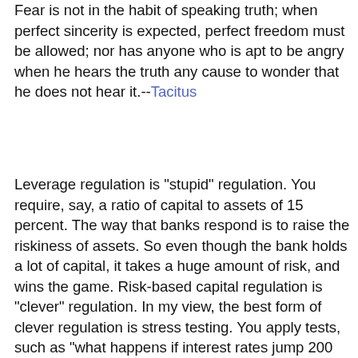Fear is not in the habit of speaking truth; when perfect sincerity is expected, perfect freedom must be allowed; nor has anyone who is apt to be angry when he hears the truth any cause to wonder that he does not hear it.--Tacitus
Leverage regulation is "stupid" regulation. You require, say, a ratio of capital to assets of 15 percent. The way that banks respond is to raise the riskiness of assets. So even though the bank holds a lot of capital, it takes a huge amount of risk, and wins the game. Risk-based capital regulation is "clever" regulation. In my view, the best form of clever regulation is stress testing. You apply tests, such as "what happens if interest rates jump 200 basis points?" or "what happens if house prices fall 20 percent?" The problem with stress testing is that the results are model-dependent. As the financial crisis hit, the Basel rules were in the process of pivoting toward stress testing, with banks doing their own modeling (as Tyler would say, Yikes!). The problem with clever regulation is that whatever...